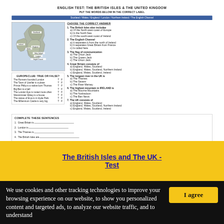ENGLISH TEST: THE BRITISH ISLES & THE UNITED KINGDOM
PUT THE WORDS BELOW IN THE CORRECT LABEL
Scotland / Wales / England / London / Northern Ireland / The English Channel
CHOOSE THE CORRECT ANSWER
1. The British Isles also includes
a) Of the North-west coast of Europe
b) In the North Sea
c) Of the south-west coast of Ireland
2. The English Channel
a) It separates it from the north of Ireland
b) It separates Great Britain from France
c) Is called here
3. The flag of communication
a) The Union Jack
b) The Queen Jack
c) The Union Jack
4. Great Britain consists of
a) England, Wales, Scotland
b) England, Wales, Scotland, Northern Ireland
c) England, Wales, Scotland, Ireland
5. The longest river in the UK is
a) The Thames
b) The Severn
c) The River Mersey
6. The highest mountain in IRELAND is
a) The Mourne Mountains
b) The Nockadoon
c) The Ben Nevis
7. The UK consists of
a) England, Wales, Scotland
b) England, Wales, Scotland, Northern Ireland
c) England, Wales, Scotland, Ireland
EUROPECLUB: True or False?
The Romans founded London T F
The Town of Llanfair is a place T F
Prince Philip is a native born Thomas T F
Big Ben is a bell T F
The London Eye is rusted more often T F
Westminster Abbey is a house T F
The statue of Eros is in Hyde Park T F
The Millennium Castle is very big T F
COMPLETE THESE SENTENCES
1. Great Britain is ___
2. London is ___
3. The Thames is ___
4. The British Isles are ___
5. In London (the other half) ___
Name: ___
The British Isles and The UK - Test
We use cookies and other tracking technologies to improve your browsing experience on our website, to show you personalized content and targeted ads, to analyze our website traffic, and to understand
I agree